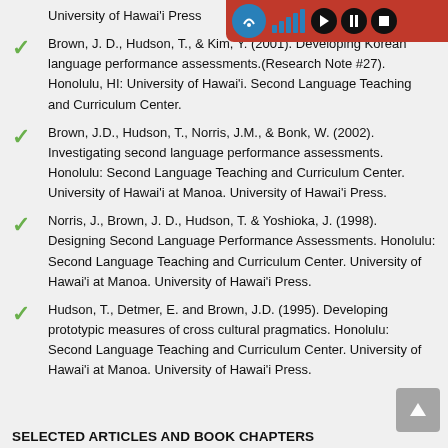University of Hawai'i Press
Brown, J. D., Hudson, T., & Kim, Y. (2001). Developing Korean language performance assessments.(Research Note #27). Honolulu, HI: University of Hawai'i. Second Language Teaching and Curriculum Center.
Brown, J.D., Hudson, T., Norris, J.M., & Bonk, W. (2002). Investigating second language performance assessments. Honolulu: Second Language Teaching and Curriculum Center. University of Hawai'i at Manoa. University of Hawai'i Press.
Norris, J., Brown, J. D., Hudson, T. & Yoshioka, J. (1998). Designing Second Language Performance Assessments. Honolulu: Second Language Teaching and Curriculum Center. University of Hawai'i at Manoa. University of Hawai'i Press.
Hudson, T., Detmer, E. and Brown, J.D. (1995). Developing prototypic measures of cross cultural pragmatics. Honolulu: Second Language Teaching and Curriculum Center. University of Hawai'i at Manoa. University of Hawai'i Press.
SELECTED ARTICLES AND BOOK CHAPTERS